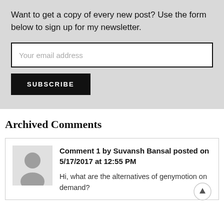Want to get a copy of every new post? Use the form below to sign up for my newsletter.
Your email address
SUBSCRIBE
Archived Comments
Comment 1 by Suvansh Bansal posted on 5/17/2017 at 12:55 PM
Hi, what are the alternatives of genymotion on demand?